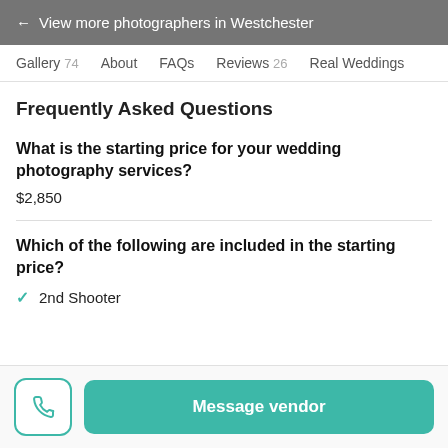← View more photographers in Westchester
Gallery 74   About   FAQs   Reviews 26   Real Weddings
Frequently Asked Questions
What is the starting price for your wedding photography services?
$2,850
Which of the following are included in the starting price?
✓ 2nd Shooter
Message vendor